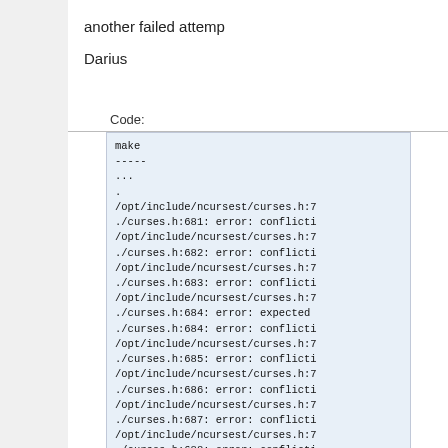another failed attemp
Darius
Code:
[Figure (screenshot): Code block showing make output with multiple conflicting declaration errors from /opt/include/ncursest/curses.h and ./curses.h at lines 681-691+]